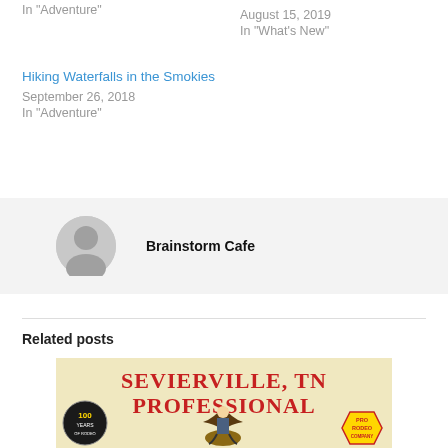In "Adventure"
August 15, 2019
In "What's New"
Hiking Waterfalls in the Smokies
September 26, 2018
In "Adventure"
Brainstorm Cafe
Related posts
[Figure (photo): Sevierville, TN Professional Rodeo Company promotional image with cowboy on horse]